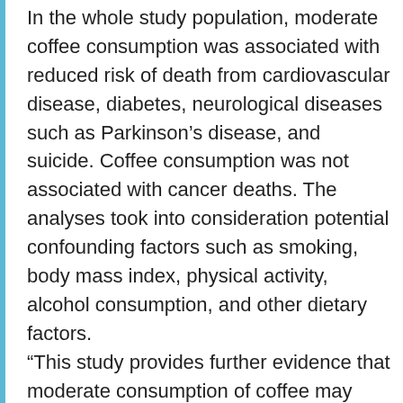In the whole study population, moderate coffee consumption was associated with reduced risk of death from cardiovascular disease, diabetes, neurological diseases such as Parkinson's disease, and suicide. Coffee consumption was not associated with cancer deaths. The analyses took into consideration potential confounding factors such as smoking, body mass index, physical activity, alcohol consumption, and other dietary factors.
“This study provides further evidence that moderate consumption of coffee may confer health benefits in terms of reducing premature death due to several diseases,” said senior author Frank Hu, professor of nutrition and epidemiology. “These data support the 2015 Dietary Guidelines Advisory Report that concluded